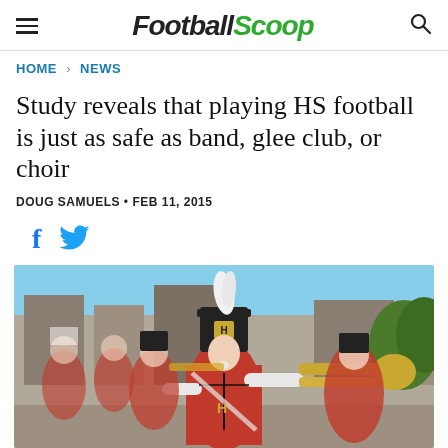FootballScoop
HOME > NEWS
Study reveals that playing HS football is just as safe as band, glee club, or choir
DOUG SAMUELS • FEB 11, 2015
[Figure (photo): Marching band members in red and black uniforms playing trombones during a parade on a city street]
[Figure (other): Social media share icons: Facebook (f) and Twitter (bird)]